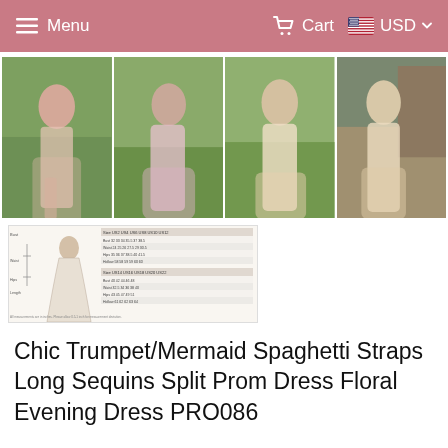Menu   Cart   USD
[Figure (photo): Four product photos of women modeling formal prom dresses in an outdoor garden setting. Left two photos show pink/blush sequin mermaid dresses with slit; right two show ivory/champagne sequin mermaid dresses with slit.]
[Figure (photo): Size chart thumbnail showing a dress measurement diagram with size table grid on the right side.]
Chic Trumpet/Mermaid Spaghetti Straps Long Sequins Split Prom Dress Floral Evening Dress PRO086